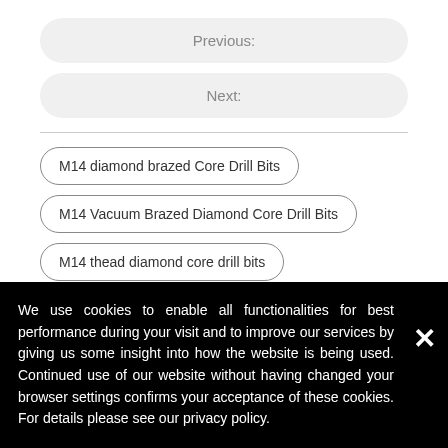Previous:
Next:
M14 diamond brazed Core Drill Bits
M14 Vacuum Brazed Diamond Core Drill Bits
M14 thead diamond core drill bits
We use cookies to enable all functionalities for best performance during your visit and to improve our services by giving us some insight into how the website is being used. Continued use of our website without having changed your browser settings confirms your acceptance of these cookies. For details please see our privacy policy.